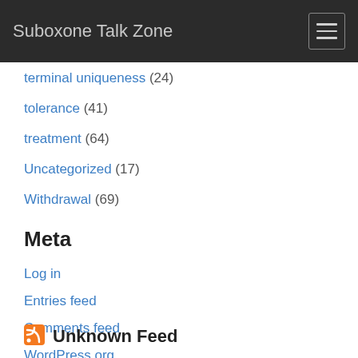Suboxone Talk Zone
terminal uniqueness (24)
tolerance (41)
treatment (64)
Uncategorized (17)
Withdrawal (69)
Meta
Log in
Entries feed
Comments feed
WordPress.org
Unknown Feed